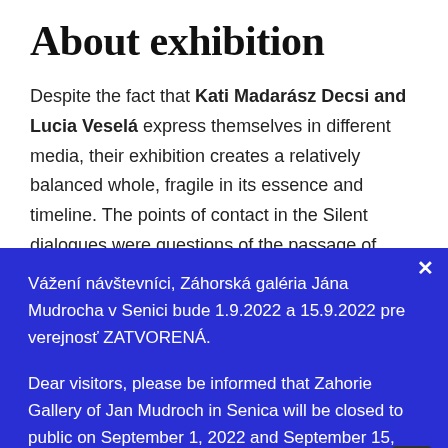About exhibition
Despite the fact that Kati Madarász Decsi and Lucia Veselá express themselves in different media, their exhibition creates a relatively balanced whole, fragile in its essence and timeline. The points of contact in the Silent dialogues were questions of the passage of time, of unique but also trivial moments. Each artist expresses these principles in a specific way. Kati
Vážení návštevníci, Záhorská galéria Jána Mudrocha v Senici bude 1.9.2022 a 15.9.2022 pre verejnosť ZATVORENÁ.
Dear visitors, please be informed that Zahorie Gallery of Jan Mudroch in Senica will be closed to public on September 1, 2022 and September 15, 2022.